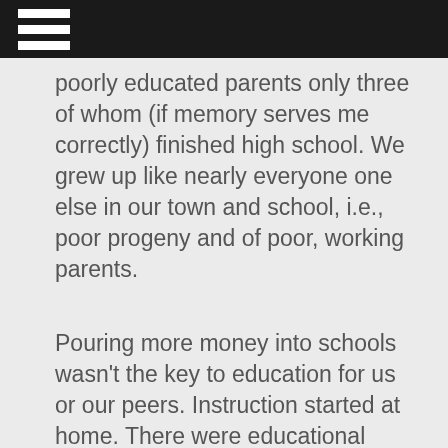poorly educated parents only three of whom (if memory serves me correctly) finished high school. We grew up like nearly everyone one else in our town and school, i.e., poor progeny and of poor, working parents.
Pouring more money into schools wasn't the key to education for us or our peers. Instruction started at home. There were educational expectations and most importantly no one taught us to envy and/or blame those who came from hard